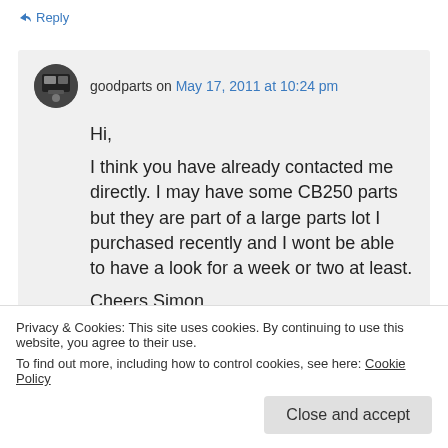↳ Reply
goodparts on May 17, 2011 at 10:24 pm
Hi,
I think you have already contacted me directly. I may have some CB250 parts but they are part of a large parts lot I purchased recently and I wont be able to have a look for a week or two at least.
Cheers Simon
Privacy & Cookies: This site uses cookies. By continuing to use this website, you agree to their use.
To find out more, including how to control cookies, see here: Cookie Policy
Close and accept